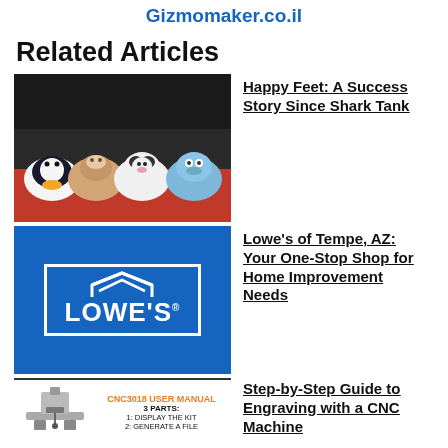Gizmomaker.co.il
Related Articles
[Figure (photo): Animal slippers worn by people: penguin, donkey, panda, and blue creature slippers on red surface]
Happy Feet: A Success Story Since Shark Tank
[Figure (logo): Lowe's home improvement store logo on blue background with house outline and white badge border]
Lowe's of Tempe, AZ: Your One-Stop Shop for Home Improvement Needs
[Figure (photo): CNC3018 User Manual cover with orange title, '3 PARTS:', '1: DISPLAY THE KIT' text and CNC machine image]
Step-by-Step Guide to Engraving with a CNC Machine